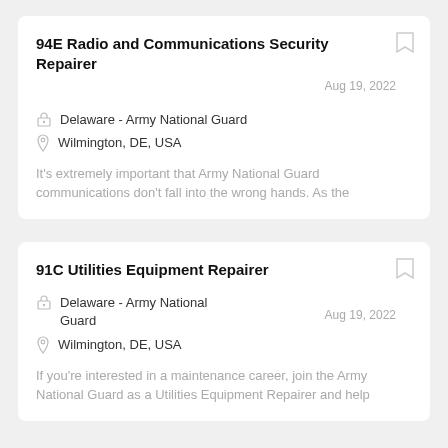94E Radio and Communications Security Repairer
Delaware - Army National Guard
Wilmington, DE, USA
Aug 19, 2022
It's extremely important that Army National Guard communications don't fall into the wrong hands. As the
91C Utilities Equipment Repairer
Delaware - Army National Guard
Wilmington, DE, USA
Aug 19, 2022
If you're interested in a maintenance career, join the Army National Guard as a Utilities Equipment Repairer and help